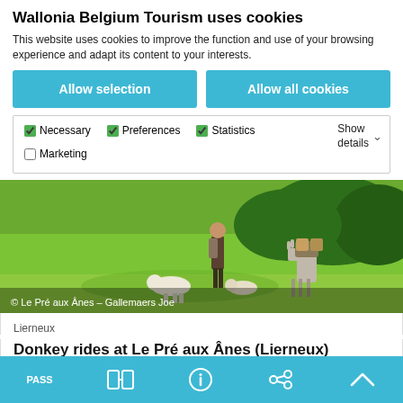Wallonia Belgium Tourism uses cookies
This website uses cookies to improve the function and use of your browsing experience and adapt its content to your interests.
Allow selection
Allow all cookies
Necessary  Preferences  Statistics  Marketing  Show details
[Figure (photo): Outdoor photo of people walking with donkeys and a dog through a green meadow with trees in background. Caption: © Le Pré aux Ânes – Gallemaers Joe]
Lierneux
Donkey rides at Le Pré aux Ânes (Lierneux)
PASS